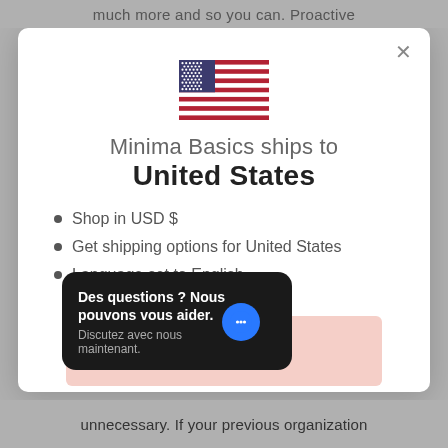much more and so you can. Proactive
[Figure (illustration): US flag emoji/icon centered in modal]
Minima Basics ships to United States
Shop in USD $
Get shipping options for United States
Language set to English
Shop now
Des questions ? Nous pouvons vous aider. Discutez avec nous maintenant.
Cha…age
unnecessary. If your previous organization